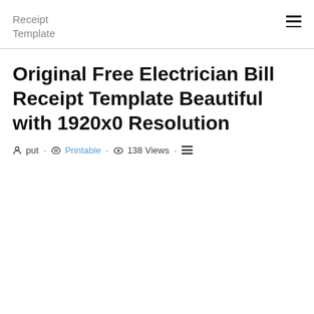Receipt Template
Original Free Electrician Bill Receipt Template Beautiful with 1920x0 Resolution
put · Printable · 138 Views ·